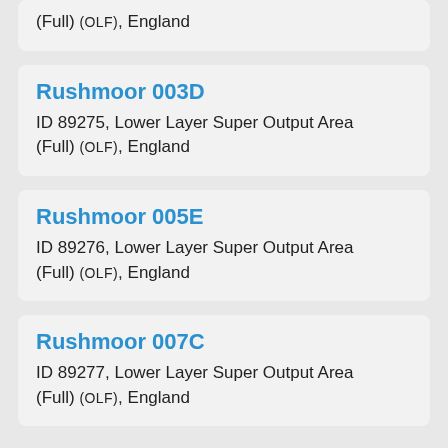(Full) (OLF), England
Rushmoor 003D
ID 89275, Lower Layer Super Output Area (Full) (OLF), England
Rushmoor 005E
ID 89276, Lower Layer Super Output Area (Full) (OLF), England
Rushmoor 007C
ID 89277, Lower Layer Super Output Area (Full) (OLF), England